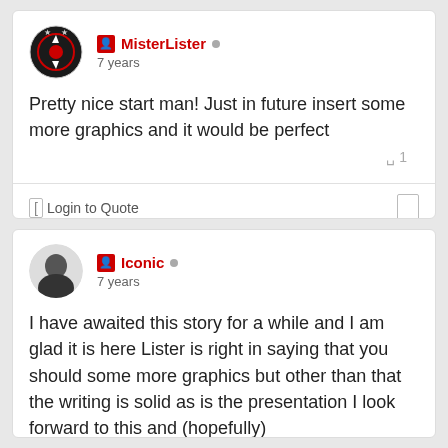MisterLister • 7 years
Pretty nice start man! Just in future insert some more graphics and it would be perfect
⇧ 1
[ Login to Quote
Iconic • 7 years
I have awaited this story for a while and I am glad it is here Lister is right in saying that you should some more graphics but other than that the writing is solid as is the presentation I look forward to this and (hopefully)